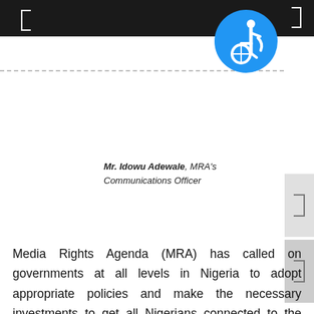[Figure (logo): Blue circular accessibility (wheelchair) icon]
Mr. Idowu Adewale, MRA's Communications Officer
Media Rights Agenda (MRA) has called on governments at all levels in Nigeria to adopt appropriate policies and make the necessary investments to get all Nigerians connected to the Internet while ensuring their safety online regardless of age, gender, social or economic status.